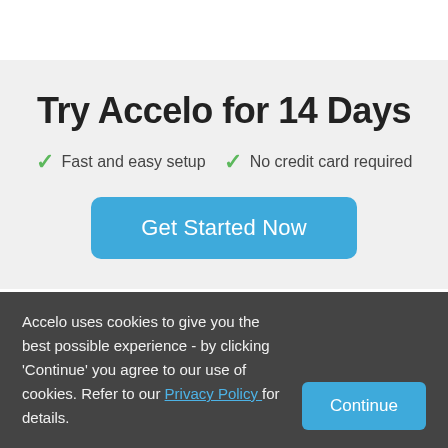Try Accelo for 14 Days
Fast and easy setup
No credit card required
Get Started Now
Accelo uses cookies to give you the best possible experience - by clicking 'Continue' you agree to our use of cookies. Refer to our Privacy Policy for details.
Continue